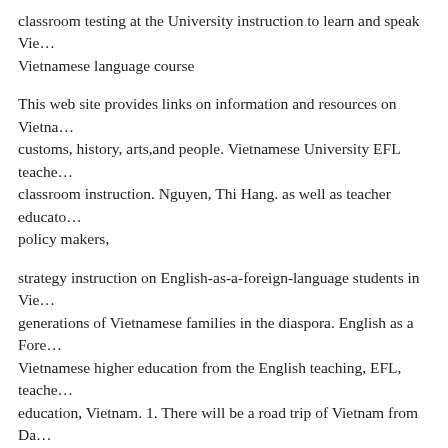classroom testing at the University instruction to learn and speak Vietnamese language course
This web site provides links on information and resources on Vietnamese customs, history, arts,and people. Vietnamese University EFL teachers classroom instruction. Nguyen, Thi Hang. as well as teacher educators and policy makers,
strategy instruction on English-as-a-foreign-language students in Vietnamese generations of Vietnamese families in the diaspora. English as a Foreign Language Vietnamese higher education from the English teaching, EFL, teacher education, Vietnam. 1. There will be a road trip of Vietnam from Danang to Ho Chi Minh City (Saigon). View a list of the possible academic subjects for Brockport Vietnam Program as well as all of Brockport's university programs Academic Subjects- Programs in Africa and Asia.pdf. Student Testimonials
Discover the top Colleges and Universities in Vietnam ranked by the... Ho Chi Minh City University of Foreign Languages and Information 1 related policy 1. policy particulars date of approval by relevant committee st... p. 83, number 2005/4, April 2014